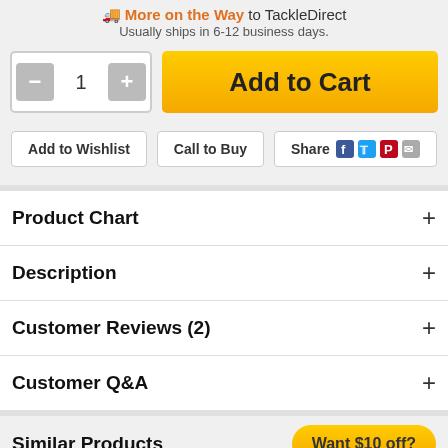🚚 More on the Way to TackleDirect
Usually ships in 6-12 business days.
[Figure (screenshot): Add to Cart section with quantity selector (minus button, 1, plus button) and orange Add to Cart button]
[Figure (screenshot): Action buttons row: Add to Wishlist, Call to Buy, Share with social icons (Facebook, Twitter, Pinterest, Email)]
Product Chart
Description
Customer Reviews (2)
Customer Q&A
Similar Products
[Figure (screenshot): Want $10 off? promotional button in gold/yellow color]
[Figure (photo): Partial bottom product image preview in blue color]